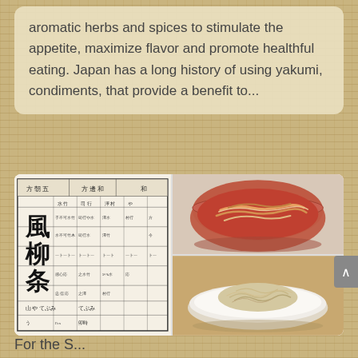aromatic herbs and spices to stimulate the appetite, maximize flavor and promote healthful eating. Japan has a long history of using yakumi, condiments, that provide a benefit to...
[Figure (photo): Three images: left - a Japanese historical document with kanji text in vertical columns; top right - a bowl of julienned vegetables in red/orange sauce; bottom right - a white plate with shredded pale colored food]
For the S...